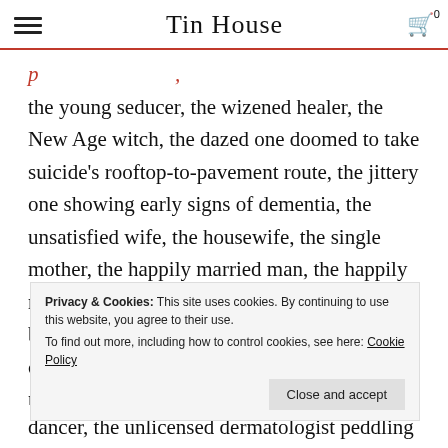Tin House
the young seducer, the wizened healer, the New Age witch, the dazed one doomed to take suicide’s rooftop-to-pavement route, the jittery one showing early signs of dementia, the unsatisfied wife, the housewife, the single mother, the happily married man, the happily married gay couple, the bachelor, the gym buff, the congressman’s mistress and the congressman’s aide she bonks on the side, the publicist for a fracking company
Privacy & Cookies: This site uses cookies. By continuing to use this website, you agree to their use. To find out more, including how to control cookies, see here: Cookie Policy
dancer, the unlicensed dermatologist peddling